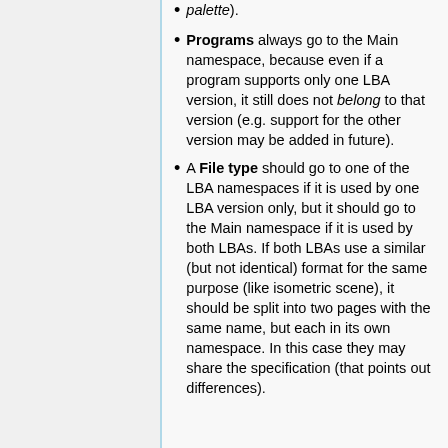palette).
Programs always go to the Main namespace, because even if a program supports only one LBA version, it still does not belong to that version (e.g. support for the other version may be added in future).
A File type should go to one of the LBA namespaces if it is used by one LBA version only, but it should go to the Main namespace if it is used by both LBAs. If both LBAs use a similar (but not identical) format for the same purpose (like isometric scene), it should be split into two pages with the same name, but each in its own namespace. In this case they may share the specification (that points out differences).